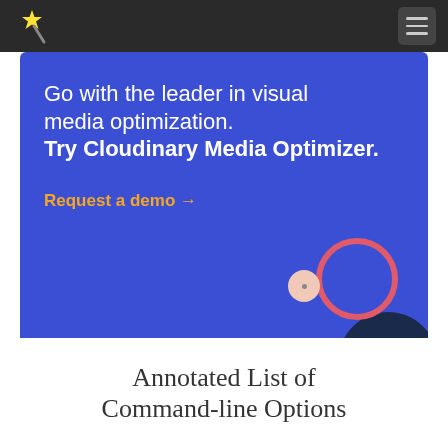Cloudinary – navigation bar with logo and menu
[Figure (illustration): Blue promotional banner for Cloudinary Media Optimizer with decorative circles]
Go with the leader in visual media optimization.
Try Cloudinary Media Optimizer.
Request a demo →
Annotated List of Command-line Options